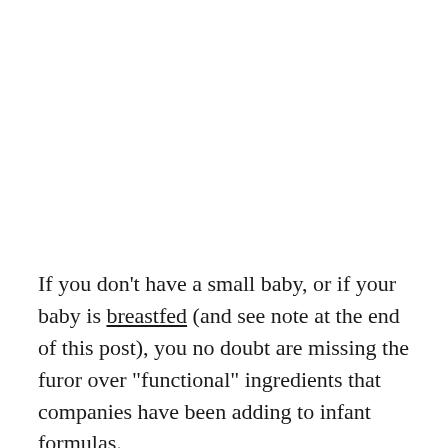If you don't have a small baby, or if your baby is breastfed (and see note at the end of this post), you no doubt are missing the furor over "functional" ingredients that companies have been adding to infant formulas.